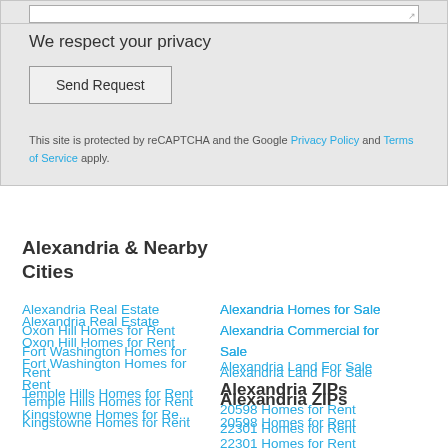We respect your privacy
Send Request
This site is protected by reCAPTCHA and the Google Privacy Policy and Terms of Service apply.
Alexandria & Nearby Cities
Alexandria Real Estate
Oxon Hill Homes for Rent
Fort Washington Homes for Rent
Temple Hills Homes for Rent
Kingstowne Homes for Rent (partial)
Alexandria Homes for Sale
Alexandria Commercial for Sale
Alexandria Land For Sale
Alexandria ZIPs
20598 Homes for Rent
22301 Homes for Rent
22302 Homes for Rent
22303 Homes for Rent
22304 Homes for Rent
22305 Homes for Rent
See All Alexandria ZIPs